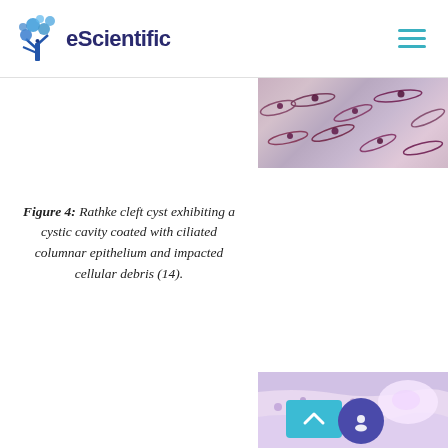eScientific
[Figure (photo): Microscopy image strip at top right showing stained tissue cells with elongated nuclei on pink background]
Figure 4: Rathke cleft cyst exhibiting a cystic cavity coated with ciliated columnar epithelium and impacted cellular debris (14).
[Figure (photo): Microscopy image at bottom right showing Rathke cleft cyst tissue with purple/pink staining, with UI overlay buttons (scroll-up and chat)]